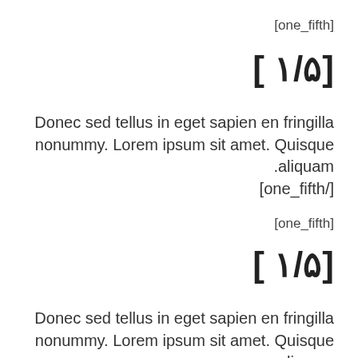[one_fifth]
[ ١/۵]
Donec sed tellus in eget sapien en fringilla nonummy. Lorem ipsum sit amet. Quisque .aliquam
[one_fifth/]
[one_fifth]
[ ١/۵]
Donec sed tellus in eget sapien en fringilla nonummy. Lorem ipsum sit amet. Quisque .aliquam
[one_fifth/]